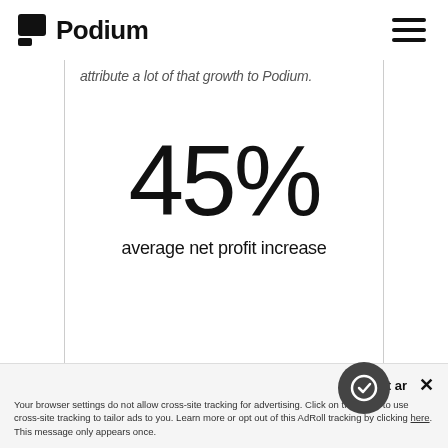Podium
attribute a lot of that growth to Podium.
45%
average net profit increase
Accept ar
Your browser settings do not allow cross-site tracking for advertising. Click on this page to use cross-site tracking to tailor ads to you. Learn more or opt out of this AdRoll tracking by clicking here. This message only appears once.